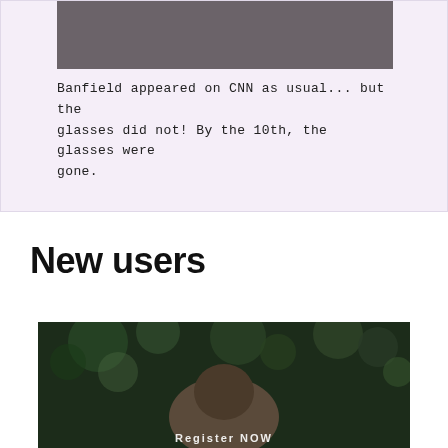[Figure (photo): Screenshot of a CNN broadcast showing a dark gray video frame at the top of a card with a light purple background]
Banfield appeared on CNN as usual... but the glasses did not! By the 10th, the glasses were gone.
New users
[Figure (photo): Photo of a person outdoors with blurred dark green bokeh background, wearing a gray/brown item. White bold text at the bottom reads 'Register NOW']